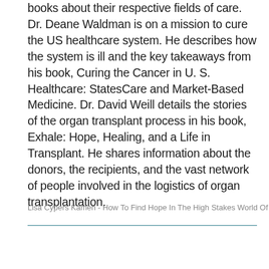books about their respective fields of care. Dr. Deane Waldman is on a mission to cure the US healthcare system. He describes how the system is ill and the key takeaways from his book, Curing the Cancer in U. S. Healthcare: StatesCare and Market-Based Medicine. Dr. David Weill details the stories of the organ transplant process in his book, Exhale: Hope, Healing, and a Life in Transplant. He shares information about the donors, the recipients, and the vast network of people involved in the logistics of organ transplantation.
Lisa Cypers Kamen - How To Find Hope In The High Stakes World Of Medicin…